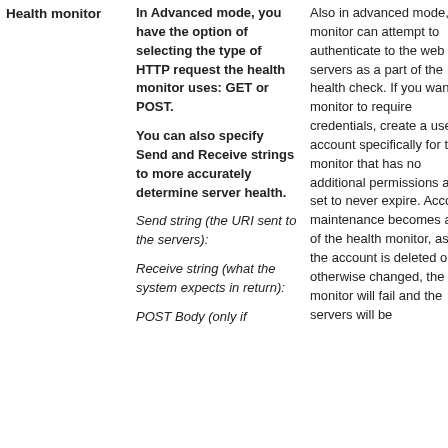|  | Middle Column | Right Column |
| --- | --- | --- |
| Health monitor | In Advanced mode, you have the option of selecting the type of HTTP request the health monitor uses: GET or POST.

You can also specify Send and Receive strings to more accurately determine server health.

Send string (the URI sent to the servers):

Receive string (what the system expects in return):

POST Body (only if | Also in advanced mode, the monitor can attempt to authenticate to the web servers as a part of the health check. If you want the monitor to require credentials, create a user account specifically for this monitor that has no additional permissions and is set to never expire. Account maintenance becomes a part of the health monitor, as if the account is deleted or otherwise changed, the monitor will fail and the servers will be |